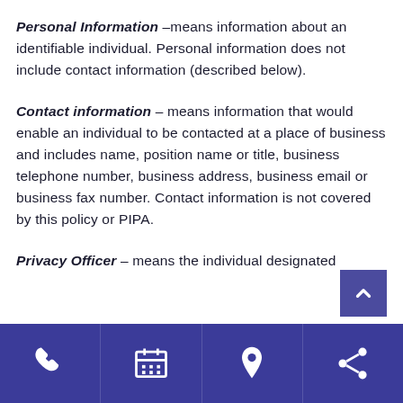Personal Information – means information about an identifiable individual. Personal information does not include contact information (described below).
Contact information – means information that would enable an individual to be contacted at a place of business and includes name, position name or title, business telephone number, business address, business email or business fax number. Contact information is not covered by this policy or PIPA.
Privacy Officer – means the individual designated
[phone] [calendar] [location] [share]